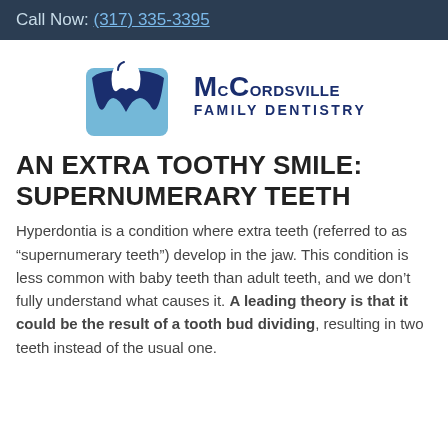Call Now: (317) 335-3395
[Figure (logo): McCordsville Family Dentistry logo with a stylized tooth and W icon in blue]
AN EXTRA TOOTHY SMILE: SUPERNUMERARY TEETH
Hyperdontia is a condition where extra teeth (referred to as “supernumerary teeth”) develop in the jaw. This condition is less common with baby teeth than adult teeth, and we don’t fully understand what causes it. A leading theory is that it could be the result of a tooth bud dividing, resulting in two teeth instead of the usual one.